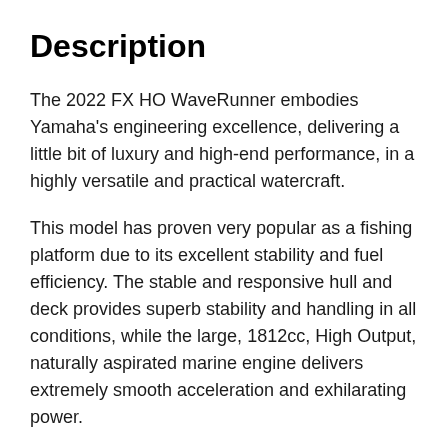Description
The 2022 FX HO WaveRunner embodies Yamaha's engineering excellence, delivering a little bit of luxury and high-end performance, in a highly versatile and practical watercraft.
This model has proven very popular as a fishing platform due to its excellent stability and fuel efficiency. The stable and responsive hull and deck provides superb stability and handling in all conditions, while the large, 1812cc, High Output, naturally aspirated marine engine delivers extremely smooth acceleration and exhilarating power.
New for 2022, the FX HO returns with significant